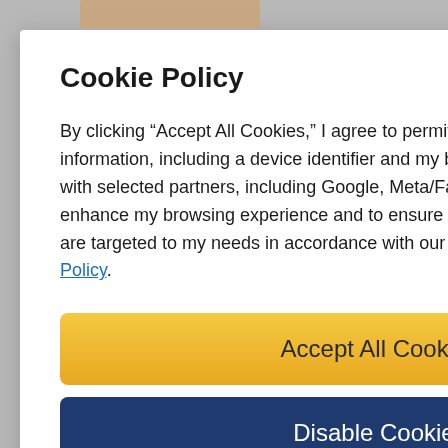[Figure (photo): Partial photo of a person's face/hair visible at the top of the background page behind the modal]
Cookie Policy
By clicking “Accept All Cookies,” I agree to permit this website to share my information, including a device identifier and my browsing history on this site, with selected partners, including Google, Meta/Facebook and others, to enhance my browsing experience and to ensure that marketing communications are targeted to my needs in accordance with our Cookie Policy and our Privacy Policy.
Accept All Cookies
Disable Cookies